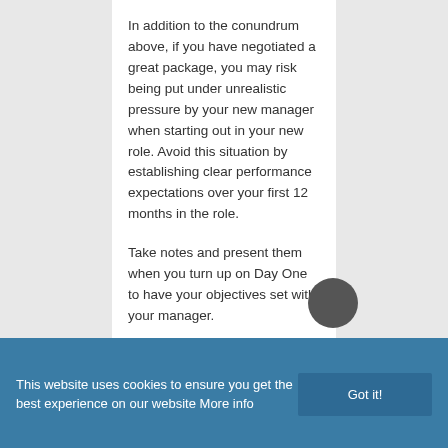In addition to the conundrum above, if you have negotiated a great package, you may risk being put under unrealistic pressure by your new manager when starting out in your new role. Avoid this situation by establishing clear performance expectations over your first 12 months in the role.
Take notes and present them when you turn up on Day One to have your objectives set with your manager.
Deal with the detail sooner
This website uses cookies to ensure you get the best experience on our website More info